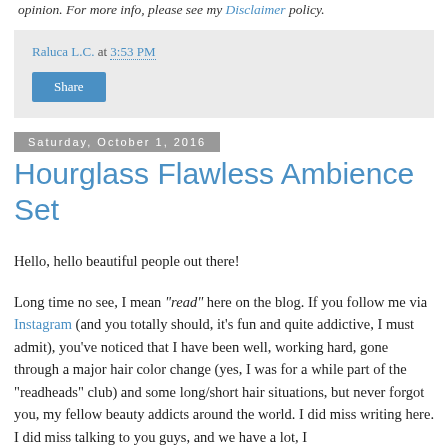opinion. For more info, please see my Disclaimer policy.
Raluca L.C. at 3:53 PM
Share
Saturday, October 1, 2016
Hourglass Flawless Ambience Set
Hello, hello beautiful people out there!
Long time no see, I mean "read" here on the blog. If you follow me via Instagram (and you totally should, it's fun and quite addictive, I must admit), you've noticed that I have been well, working hard, gone through a major hair color change (yes, I was for a while part of the "readheads" club) and some long/short hair situations, but never forgot you, my fellow beauty addicts around the world. I did miss writing here. I did miss talking to you guys, and we have a lot, I